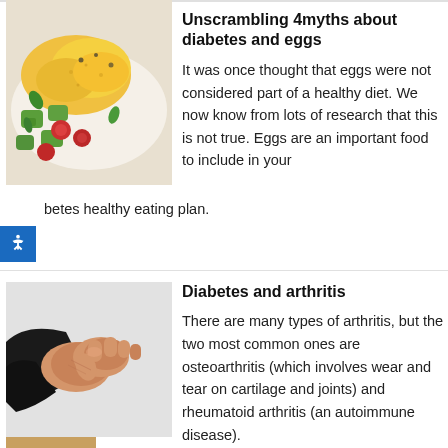[Figure (photo): Photo of fried eggs served with avocado and cherry tomatoes on a plate]
Unscrambling 4myths about diabetes and eggs
It was once thought that eggs were not considered part of a healthy diet. We now know from lots of research that this is not true. Eggs are an important food to include in your diabetes healthy eating plan.
[Figure (photo): Photo of a person holding their wrist, suggesting joint pain or arthritis]
Diabetes and arthritis
There are many types of arthritis, but the two most common ones are osteoarthritis (which involves wear and tear on cartilage and joints) and rheumatoid arthritis (an autoimmune disease).